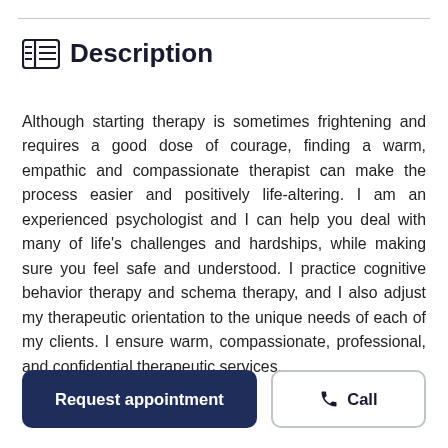Description
Although starting therapy is sometimes frightening and requires a good dose of courage, finding a warm, empathic and compassionate therapist can make the process easier and positively life-altering. I am an experienced psychologist and I can help you deal with many of life's challenges and hardships, while making sure you feel safe and understood. I practice cognitive behavior therapy and schema therapy, and I also adjust my therapeutic orientation to the unique needs of each of my clients. I ensure warm, compassionate, professional, and confidential therapeutic services.
Request appointment
Call